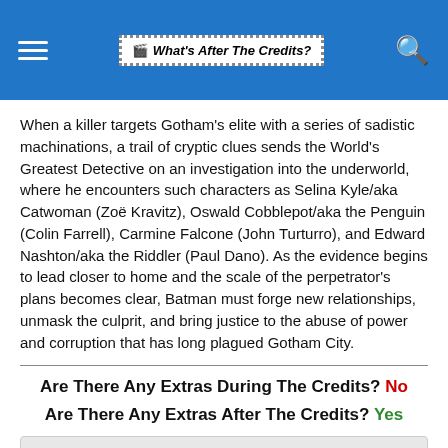What's After The Credits?
When a killer targets Gotham's elite with a series of sadistic machinations, a trail of cryptic clues sends the World's Greatest Detective on an investigation into the underworld, where he encounters such characters as Selina Kyle/aka Catwoman (Zoë Kravitz), Oswald Cobblepot/aka the Penguin (Colin Farrell), Carmine Falcone (John Turturro), and Edward Nashton/aka the Riddler (Paul Dano). As the evidence begins to lead closer to home and the scale of the perpetrator's plans becomes clear, Batman must forge new relationships, unmask the culprit, and bring justice to the abuse of power and corruption that has long plagued Gotham City.
Are There Any Extras During The Credits? No
Are There Any Extras After The Credits? Yes
Click to see whats: after the credits
Is this stinger worth waiting around for? (-151 rating, 275 votes)
Memoriam: In Memoriam
Andrew Jack